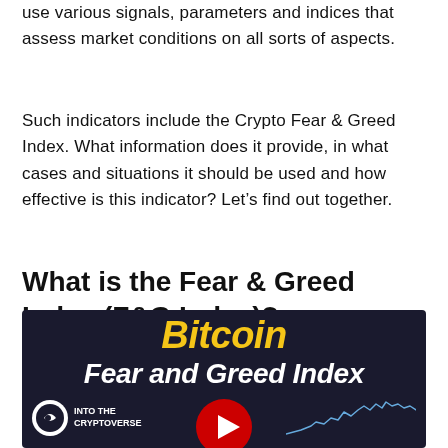use various signals, parameters and indices that assess market conditions on all sorts of aspects.
Such indicators include the Crypto Fear & Greed Index. What information does it provide, in what cases and situations it should be used and how effective is this indicator? Let's find out together.
What is the Fear & Greed Index (F&G Index)?
[Figure (illustration): YouTube video thumbnail with dark background showing 'Bitcoin' in large yellow italic bold text and 'Fear and Greed Index' in white italic bold text below, with a red YouTube play button in the center, a 'Into the Cryptoverse' logo at the bottom-left, and a white crypto price chart line at the bottom-right.]